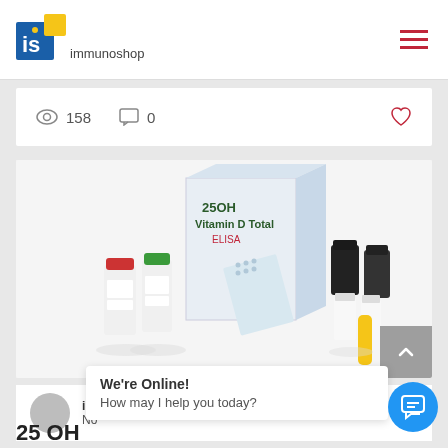immunoshop
158  0
[Figure (photo): 25OH Vitamin D Total ELISA kit product photo showing reagent bottles with red and green caps, microplate strips, and associated reagents on a white background with product box]
im
No
25 OH
We're Online! How may I help you today?